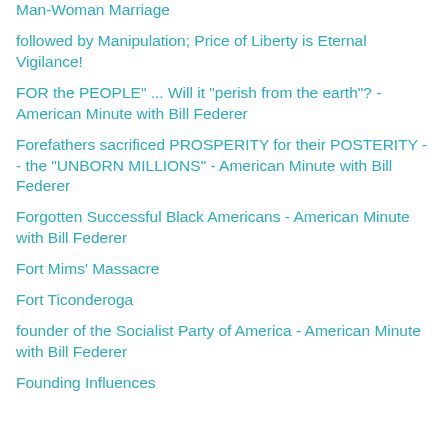Man-Woman Marriage
followed by Manipulation; Price of Liberty is Eternal Vigilance!
FOR the PEOPLE" ... Will it "perish from the earth"? - American Minute with Bill Federer
Forefathers sacrificed PROSPERITY for their POSTERITY -- the "UNBORN MILLIONS" - American Minute with Bill Federer
Forgotten Successful Black Americans - American Minute with Bill Federer
Fort Mims' Massacre
Fort Ticonderoga
founder of the Socialist Party of America - American Minute with Bill Federer
Founding Influences